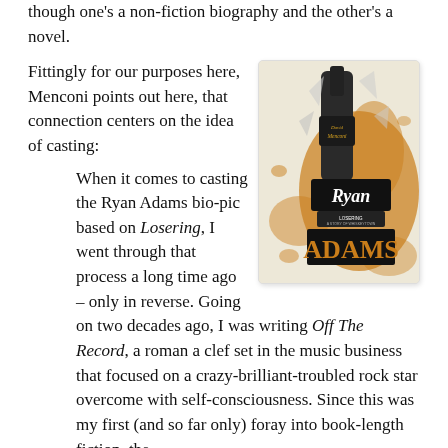though one's a non-fiction biography and the other's a novel.
Fittingly for our purposes here, Menconi points out here, that connection centers on the idea of casting:
[Figure (photo): Book cover of 'Ryan Adams: Losering, A Story of Whiskeytown' by David Menconi. Features a beer bottle shattering with orange liquid splatter, with stylized text showing the title and author name.]
When it comes to casting the Ryan Adams bio-pic based on Losering, I went through that process a long time ago – only in reverse. Going on two decades ago, I was writing Off The Record, a roman a clef set in the music business that focused on a crazy-brilliant-troubled rock star overcome with self-consciousness. Since this was my first (and so far only) foray into book-length fiction, the